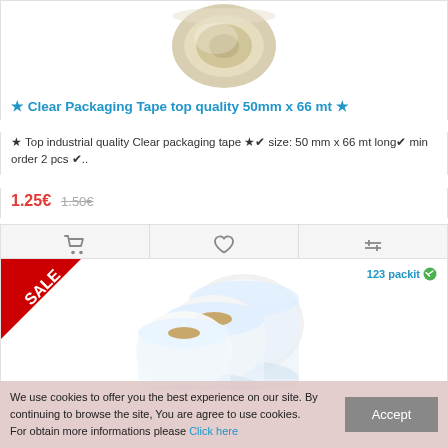[Figure (photo): Clear packaging tape roll on a white background, viewed from an angle showing the roll top]
★ Clear Packaging Tape top quality 50mm x 66 mt ★
★ Top industrial quality Clear packaging tape ★✔ size: 50 mm x 66 mt long✔ min order 2 pcs ✔..
1.25€  1.50€
[Figure (photo): Three rolls of clear stretch wrap/pallet wrap film stacked together, with a SALE banner in the top left corner and 123packit logo in the top right]
We use cookies to offer you the best experience on our site. By continuing to browse the site, You are agree to use cookies. For obtain more informations please Click here